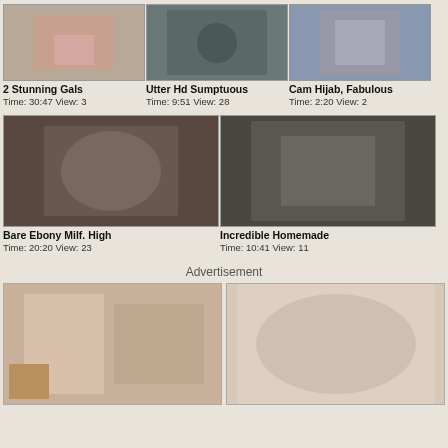[Figure (photo): Thumbnail image for '2 Stunning Gals']
2 Stunning Gals
Time: 30:47 View: 3
[Figure (photo): Thumbnail image for 'Utter Hd Sumptuous']
Utter Hd Sumptuous
Time: 9:51 View: 28
[Figure (photo): Thumbnail image for 'Cam Hijab, Fabulous']
Cam Hijab, Fabulous
Time: 2:20 View: 2
[Figure (photo): Thumbnail image for 'Bare Ebony Milf. High']
Bare Ebony Milf. High
Time: 20:20 View: 23
[Figure (photo): Thumbnail image for 'Incredible Homemade']
Incredible Homemade
Time: 10:41 View: 11
Advertisement
[Figure (photo): Advertisement image left]
[Figure (photo): Advertisement image right]